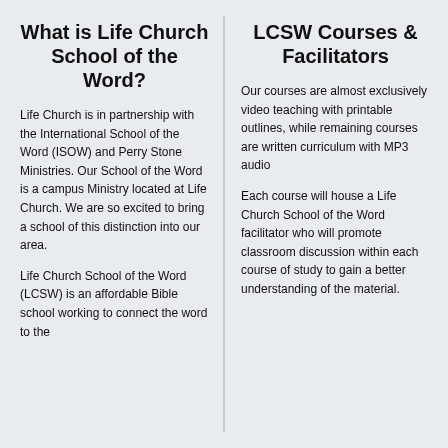What is Life Church School of the Word?
Life Church is in partnership with the International School of the Word (ISOW) and Perry Stone Ministries. Our School of the Word is a campus Ministry located at Life Church. We are so excited to bring a school of this distinction into our area.
Life Church School of the Word (LCSW) is an affordable Bible school working to connect the word to the
LCSW Courses & Facilitators
Our courses are almost exclusively video teaching with printable outlines, while remaining courses are written curriculum with MP3 audio
Each course will house a Life Church School of the Word facilitator who will promote classroom discussion within each course of study to gain a better understanding of the material.